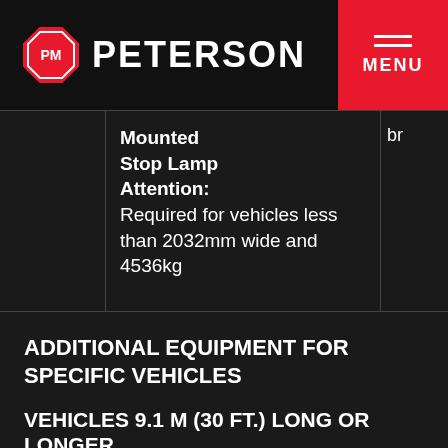PM PETERSON | MENU
|  | Description | br |
| --- | --- | --- |
|  | Mounted Stop Lamp Attention: Required for vehicles less than 2032mm wide and 4536kg | br |
ADDITIONAL EQUIPMENT FOR SPECIFIC VEHICLES
VEHICLES 9.1 m (30 ft.) LONG OR LONGER
| DESCRIPTION |
| --- |